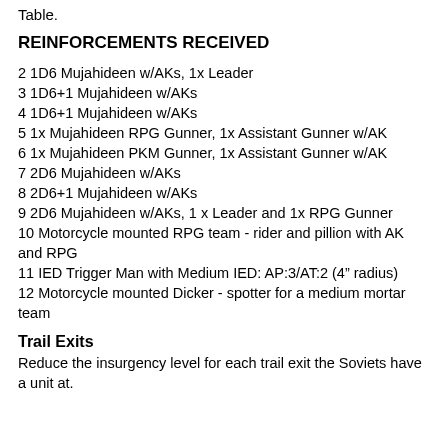Table.
REINFORCEMENTS RECEIVED
2 1D6 Mujahideen w/AKs, 1x Leader
3 1D6+1 Mujahideen w/AKs
4 1D6+1 Mujahideen w/AKs
5 1x Mujahideen RPG Gunner, 1x Assistant Gunner w/AK
6 1x Mujahideen PKM Gunner, 1x Assistant Gunner w/AK
7 2D6 Mujahideen w/AKs
8 2D6+1 Mujahideen w/AKs
9 2D6 Mujahideen w/AKs, 1 x Leader and 1x RPG Gunner
10 Motorcycle mounted RPG team - rider and pillion with AK and RPG
11 IED Trigger Man with Medium IED: AP:3/AT:2 (4” radius)
12 Motorcycle mounted Dicker - spotter for a medium mortar team
Trail Exits
Reduce the insurgency level for each trail exit the Soviets have a unit at.